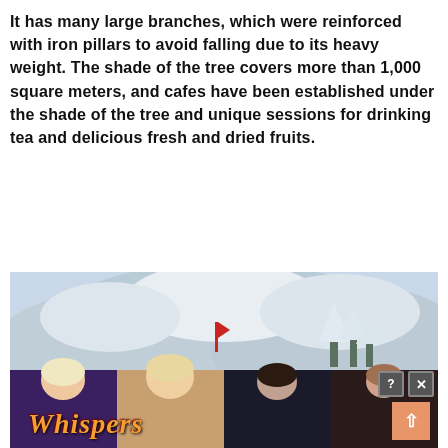It has many large branches, which were reinforced with iron pillars to avoid falling due to its heavy weight. The shade of the tree covers more than 1,000 square meters, and cafes have been established under the shade of the tree and unique sessions for drinking tea and delicious fresh and dried fruits.
[Figure (photo): Advertisement banner showing a snowy winter mountain landscape in the upper half, and animated romance story illustrations (Whispers game ad) in the lower half with close and scroll-to-top buttons]